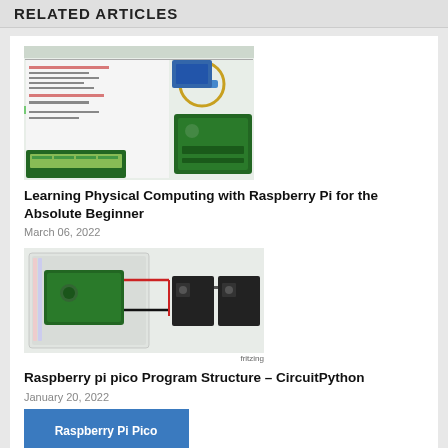RELATED ARTICLES
[Figure (screenshot): Screenshot of a Raspberry Pi IDE/programming environment with a servo motor, PCA9685 module, Raspberry Pi board, and LCD display]
Learning Physical Computing with Raspberry Pi for the Absolute Beginner
March 06, 2022
[Figure (engineering-diagram): Fritzing wiring diagram showing a Raspberry Pi Pico on a breadboard connected to NeoPixel LED modules via red and black wires]
fritzing
Raspberry pi pico Program Structure – CircuitPython
January 20, 2022
[Figure (screenshot): Blue button labeled Raspberry Pi Pico]